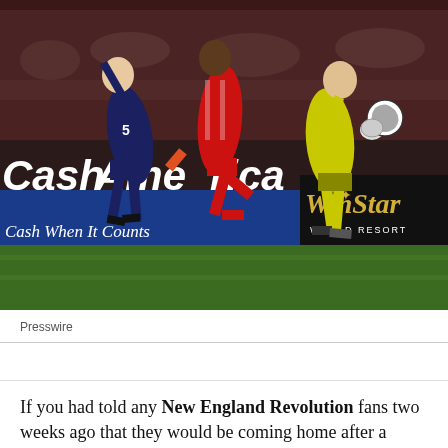[Figure (photo): Soccer match action shot showing three players — one in navy blue (number 5), one in red, and one goalkeeper in yellow — competing for the ball. Advertising boards visible in background reading 'Cash America — Cash When It Counts' and 'WinStar World Resort'.]
Presswire
If you had told any New England Revolution fans two weeks ago that they would be coming home after a